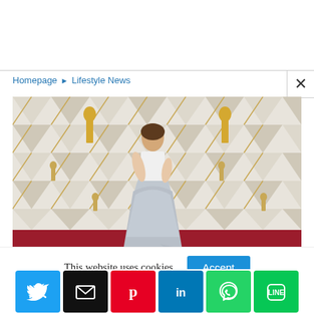Homepage › Lifestyle News
[Figure (photo): Woman in white crop top and silver sequined skirt standing on red carpet in front of Oscars backdrop with gold statues]
This website uses cookies.
[Figure (infographic): Social sharing buttons: Twitter (blue), Email (black), Pinterest (red), LinkedIn (blue), WhatsApp (green), LINE (green)]